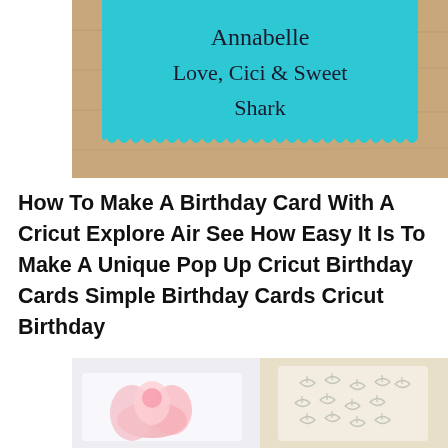[Figure (photo): Photo of a teal scallop-edged birthday card on a wooden surface with handwritten text 'Annabelle Love, Cici & Sweet Shark']
How To Make A Birthday Card With A Cricut Explore Air See How Easy It Is To Make A Unique Pop Up Cricut Birthday Cards Simple Birthday Cards Cricut Birthday
[Figure (photo): Two images side by side: left shows a pink floral pop-up card on white background, right shows a card with grey leaf pattern on cream background]